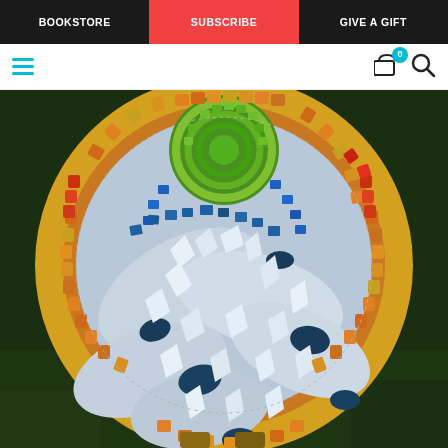BOOKSTORE | SUBSCRIBE | GIVE A GIFT
[Figure (screenshot): Website navigation toolbar with hamburger menu, cart icon with badge showing 0, and search icon]
[Figure (photo): Mosaic art piece showing a circular table top decorated with mosaic tiles. The border is made of orange, red, yellow, and green square tiles. The interior shows a monstera leaf pattern in light blue/white broken ceramic pieces with dark blue accent tiles. The top portion shows a sun/spiral pattern in green mosaic tiles against a blue background. The table sits on grass.]